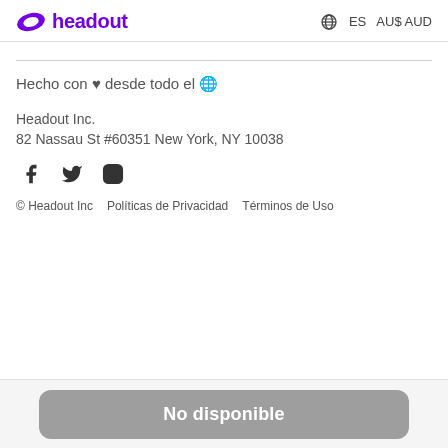headout   ES  AU$ AUD
Hecho con ♥ desde todo el 🌐
Headout Inc.
82 Nassau St #60351 New York, NY 10038
[Figure (other): Social media icons: Facebook, Twitter, Instagram]
© Headout Inc   Políticas de Privacidad   Términos de Uso
No disponible